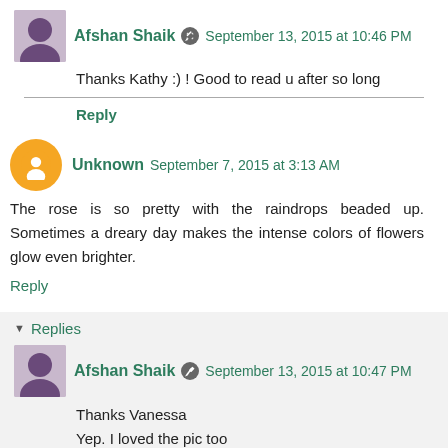[Figure (photo): User avatar photo of Afshan Shaik - small portrait thumbnail]
Afshan Shaik  September 13, 2015 at 10:46 PM
Thanks Kathy :) ! Good to read u after so long
Reply
[Figure (illustration): Orange circle avatar for Unknown user with blogger icon]
Unknown  September 7, 2015 at 3:13 AM
The rose is so pretty with the raindrops beaded up. Sometimes a dreary day makes the intense colors of flowers glow even brighter.
Reply
▼ Replies
[Figure (photo): User avatar photo of Afshan Shaik - small portrait thumbnail]
Afshan Shaik  September 13, 2015 at 10:47 PM
Thanks Vanessa
Yep. I loved the pic too